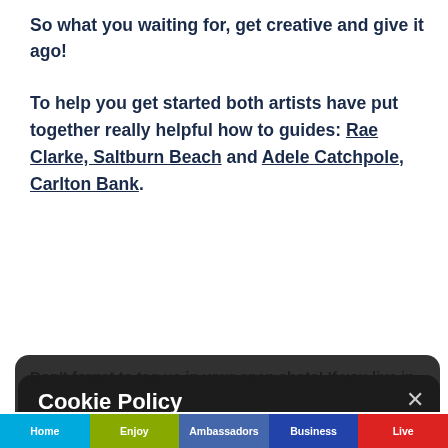So what you waiting for, get creative and give it ago!
To help you get started both artists have put together really helpful how to guides: Rae Clarke, Saltburn Beach and Adele Catchpole, Carlton Bank.
Don't forget to tag us in your snap shots! If you live in Redcar & Cleveland, post your window art on social media using the #EnjoyRC and tag Redcar & Cleveland Borough Council for Middlesbrough, your kitchen arts showcasing initiative. Love Middlesbrough and tag Love Middlesbrough
Cookie Policy
This site uses cookies - small text files that are placed on your machine to help the site provide a better user experience. We suggest consulting the Help section of your browser or taking a look at the About Cookies website which offers guidance for all modern browsers
Accept Cookies for this website
Decline Cookies
Home | Enjoy | Ambassadors | Business | Live